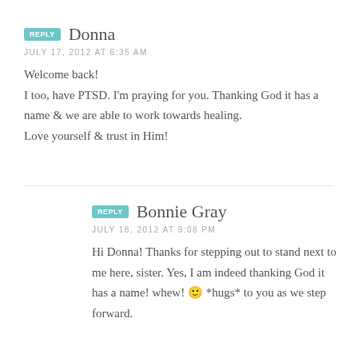REPLY Donna
JULY 17, 2012 AT 6:35 AM
Welcome back!
I too, have PTSD. I'm praying for you. Thanking God it has a name & we are able to work towards healing.
Love yourself & trust in Him!
REPLY Bonnie Gray
JULY 18, 2012 AT 9:08 PM
Hi Donna! Thanks for stepping out to stand next to me here, sister. Yes, I am indeed thanking God it has a name! whew! 🙂 *hugs* to you as we step forward.